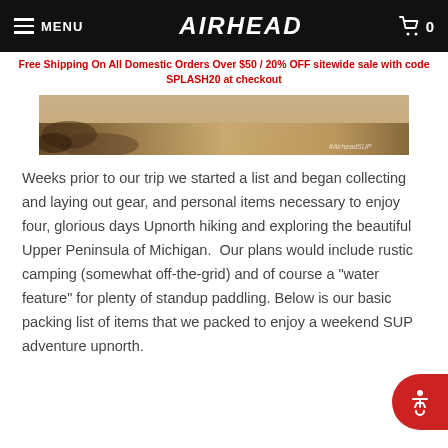MENU | AIRHEAD | 0
Free Shipping On All Domestic Orders Over $50 / 20% OFF sitewide sale with code SPLASH20 at checkout
[Figure (photo): Wide banner photo of sandy/earthy terrain with text #AirheadSUP in the bottom right corner]
Weeks prior to our trip we started a list and began collecting and laying out gear, and personal items necessary to enjoy four, glorious days Upnorth hiking and exploring the beautiful Upper Peninsula of Michigan. Our plans would include rustic camping (somewhat off-the-grid) and of course a "water feature" for plenty of standup paddling. Below is our basic packing list of items that we packed to enjoy a weekend SUP adventure upnorth.